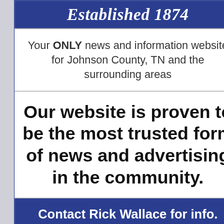Established 1874
Your ONLY news and information website for Johnson County, TN and the surrounding areas
Our website is proven to be the most trusted form of news and advertising in the community.
Contact Rick Wallace for info. (423) 727-6121 ext. 22